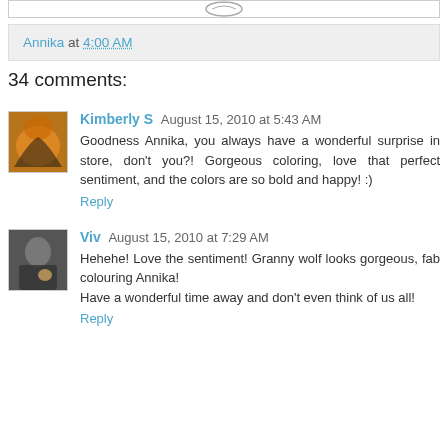[Figure (other): Partial top image bar visible at top of page]
Annika at 4:00 AM
34 comments:
Kimberly S  August 15, 2010 at 5:43 AM
Goodness Annika, you always have a wonderful surprise in store, don't you?! Gorgeous coloring, love that perfect sentiment, and the colors are so bold and happy! :)
Reply
Viv  August 15, 2010 at 7:29 AM
Hehehe! Love the sentiment! Granny wolf looks gorgeous, fab colouring Annika!
Have a wonderful time away and don't even think of us all!
Reply